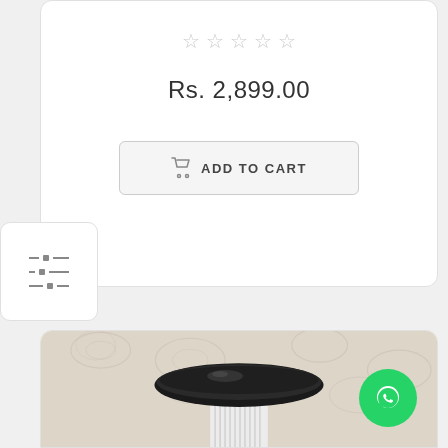★★★★★ (empty stars rating)
Rs. 2,899.00
ADD TO CART
[Figure (photo): A ceramic decorative bird bath or bowl with a glossy black shallow dish placed on top of a ribbed white pedestal column, photographed against a floral damask wallpaper background. A WhatsApp chat button (green circle with phone icon) is visible in the bottom right corner.]